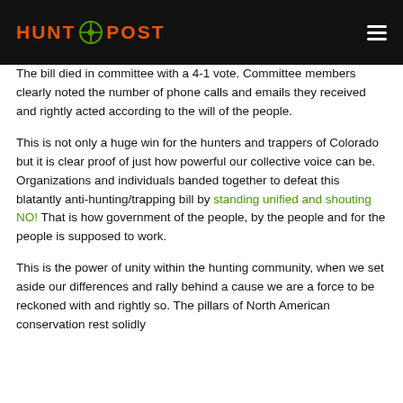HUNT POST
The bill died in committee with a 4-1 vote. Committee members clearly noted the number of phone calls and emails they received and rightly acted according to the will of the people.
This is not only a huge win for the hunters and trappers of Colorado but it is clear proof of just how powerful our collective voice can be. Organizations and individuals banded together to defeat this blatantly anti-hunting/trapping bill by standing unified and shouting NO! That is how government of the people, by the people and for the people is supposed to work.
This is the power of unity within the hunting community, when we set aside our differences and rally behind a cause we are a force to be reckoned with and rightly so. The pillars of North American conservation rest solidly